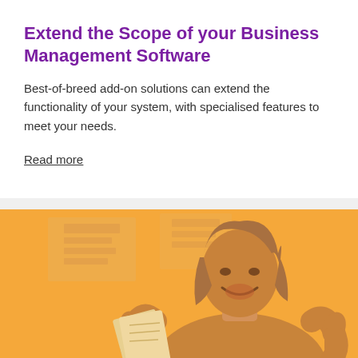Extend the Scope of your Business Management Software
Best-of-breed add-on solutions can extend the functionality of your system, with specialised features to meet your needs.
Read more
[Figure (photo): A woman with long hair smiling and giving two thumbs up, photographed against a background with papers on a wall, displayed with an amber/orange color overlay]